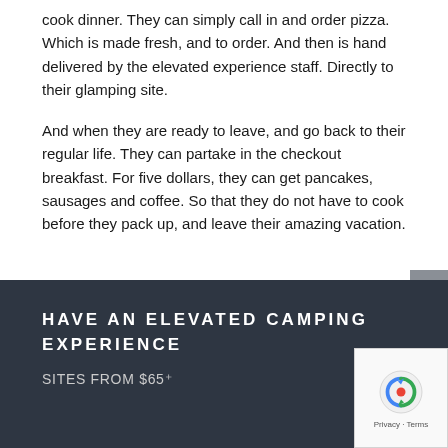cook dinner. They can simply call in and order pizza. Which is made fresh, and to order. And then is hand delivered by the elevated experience staff. Directly to their glamping site.
And when they are ready to leave, and go back to their regular life. They can partake in the checkout breakfast. For five dollars, they can get pancakes, sausages and coffee. So that they do not have to cook before they pack up, and leave their amazing vacation.
HAVE AN ELEVATED CAMPING EXPERIENCE
SITES FROM $65⁺